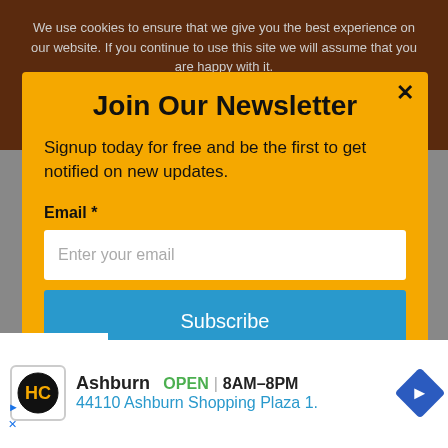We use cookies to ensure that we give you the best experience on our website. If you continue to use this site we will assume that you are happy with it.
Join Our Newsletter
Signup today for free and be the first to get notified on new updates.
Email *
Enter your email
Subscribe
Ashburn   OPEN | 8AM–8PM
44110 Ashburn Shopping Plaza 1.